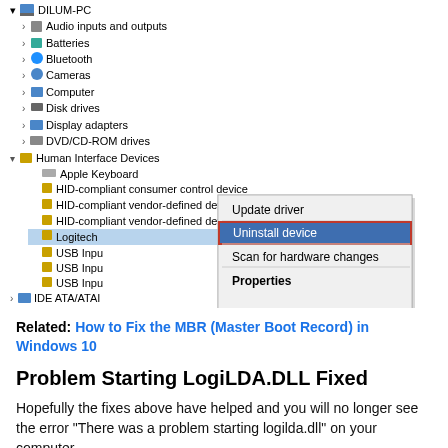[Figure (screenshot): Windows Device Manager showing tree view with Human Interface Devices expanded, and a right-click context menu showing Update driver, Uninstall device (highlighted in blue with red border), Scan for hardware changes, and Properties options.]
Related: How to Fix the MBR (Master Boot Record) in Windows 10
Problem Starting LogiLDA.DLL Fixed
Hopefully the fixes above have helped and you will no longer see the error “There was a problem starting logilda.dll” on your computer.